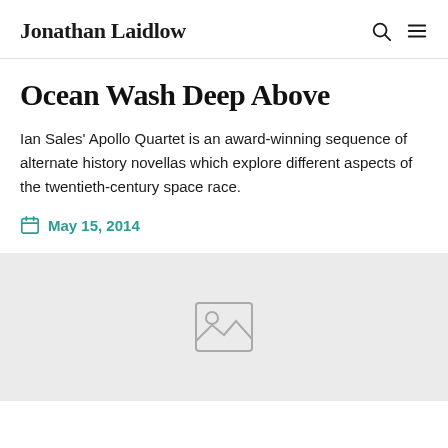Jonathan Laidlow
Ocean Wash Deep Above
Ian Sales' Apollo Quartet is an award-winning sequence of alternate history novellas which explore different aspects of the twentieth-century space race.
May 15, 2014
[Figure (photo): Placeholder image with a generic image icon on a light grey background]